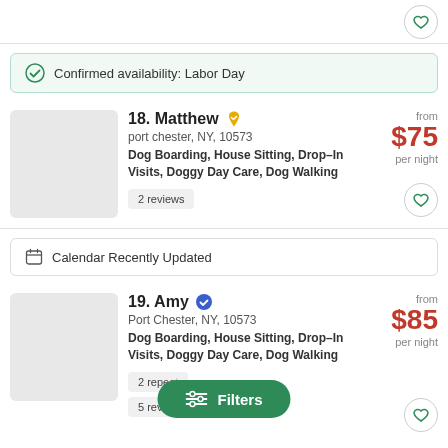[Figure (other): Heart/favorite icon button in top right corner]
Confirmed availability: Labor Day
18. Matthew — port chester, NY, 10573 — Dog Boarding, House Sitting, Drop-In Visits, Doggy Day Care, Dog Walking — 2 reviews — from $75 per night
Calendar Recently Updated
19. Amy — Port Chester, NY, 10573 — Dog Boarding, House Sitting, Drop-In Visits, Doggy Day Care, Dog Walking — 2 repeat clients — 5 reviews — ★★★★★ — from $85 per night
Filters